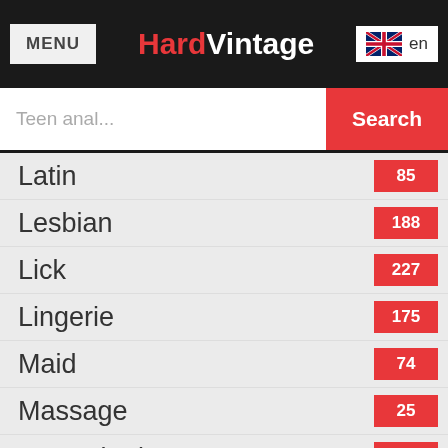MENU | HardVintage | en
Latin 85
Lesbian 188
Lick 227
Lingerie 175
Maid 74
Massage 25
Masturbation 146
Mature 324
Milf 346
Nipples 58